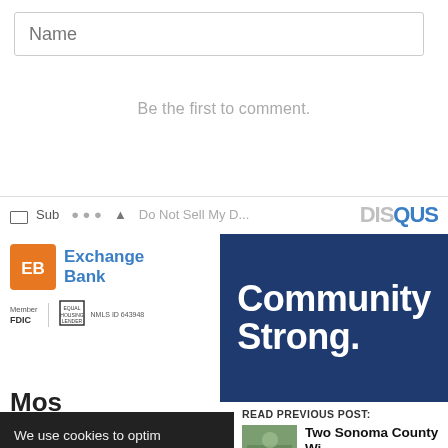[Figure (screenshot): Name input text field (comment form)]
Be the first to comment.
[Figure (screenshot): Disqus comment toolbar with Subscribe icon, share options, Do Not Sell My Data link, and DISQUS logo]
[Figure (logo): Exchange Bank logo with orange EB icon, blue Exchange Bank text, Member FDIC Equal Housing Lender badge, NMLS ID 643948]
[Figure (illustration): Dark navy blue banner with white bold text reading 'Community Strong.']
Mos
We use cookies to optim and personalize content Privacy Policy.
Cookie Settings
READ PREVIOUS POST:
Two Sonoma County Wi Among Top 10 Tasting R US
Two local wineries are lucky winners o 10Best Readers' Choice Awards.